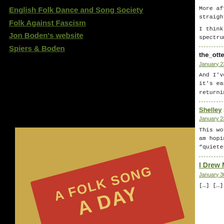English Folk Dance and Song Society
Folk Against Fascism
Jon Boden's website
Spiers & Boden
[Figure (illustration): A Folk Song A Day book cover stamp illustration on brown paper background with torn bottom edge]
More affecting than straight to the heart
I think the late Ton spectrum.
the_otter says:
January 23, 2011 at
And I've just realized it's easy to get lost returning-night-visit
Shelley says:
January 23, 2011 at
This works really w am hoping it will ap "quieter" numbers.
I Drew My Ship
January 30, 2011 at
[…] […]